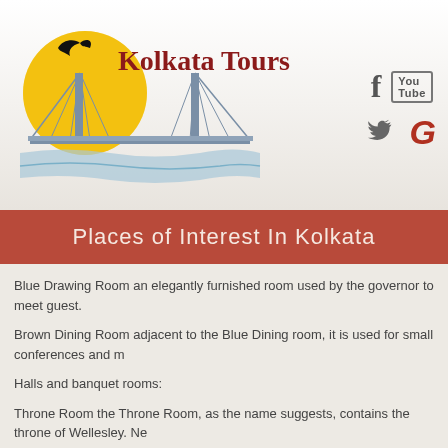[Figure (logo): Kolkata Tours logo with illustrated Howrah Bridge over water and yellow sun with black bird silhouette, with text 'Kolkata Tours' in dark red serif font]
[Figure (illustration): Social media icons: Facebook (f), YouTube, Twitter (bird), Google+ (G) in grey and red]
Places of Interest In Kolkata
Blue Drawing Room an elegantly furnished room used by the governor to meet guest.
Brown Dining Room adjacent to the Blue Dining room, it is used for small conferences and m
Halls and banquet rooms:
Throne Room the Throne Room, as the name suggests, contains the throne of Wellesley. Jawaharlal Nehru, Dr B C Roy. it also contains an Urn used to carry the Mahatma Gandhi's as
Council Chamber the Governor General used the Council Chamber to preside over the exec known as the Bharat Ratna Room and a billiard room is located just outside the Council Cha
The Marble Hall located on the ground floor of the Raj Bhavan, this is used for state and priv